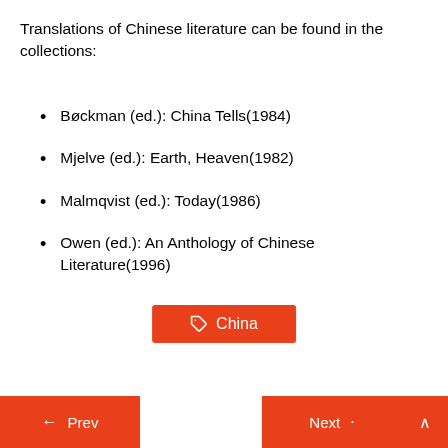Translations of Chinese literature can be found in the collections:
Bøckman (ed.): China Tells(1984)
Mjelve (ed.): Earth, Heaven(1982)
Malmqvist (ed.): Today(1986)
Owen (ed.): An Anthology of Chinese Literature(1996)
[Figure (other): Orange tag/label button with label icon and text 'China']
← Prev   Next →   ∧